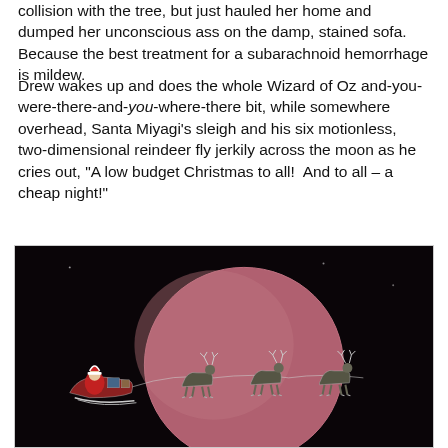collision with the tree, but just hauled her home and dumped her unconscious ass on the damp, stained sofa.  Because the best treatment for a subarachnoid hemorrhage is mildew.
Drew wakes up and does the whole Wizard of Oz and-you-were-there-and-you-where-there bit, while somewhere overhead, Santa Miyagi’s sleigh and his six motionless, two-dimensional reindeer fly jerkily across the moon as he cries out, “A low budget Christmas to all!  And to all – a cheap night!”
[Figure (photo): A dark scene showing a silhouette of Santa Claus in a sleigh pulled by reindeer flying across a large reddish-pink moon against a black night sky. The figures appear two-dimensional and low-budget in style.]